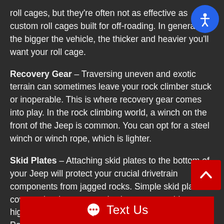roll cages, but they're often not as effective as custom roll cages built for off-roading. In general, the bigger the vehicle, the thicker and heavier you'll want your roll cage.
Recovery Gear – Traversing uneven and exotic terrain can sometimes leave your rock climber stuck or inoperable. This is where recovery gear comes into play. In the rock climbing world, a winch on the front of the Jeep is common. You can opt for a steel winch or winch rope, which is lighter.
Skid Plates – Attaching skid plates to the bottom of your Jeep will protect your crucial drivetrain components from jagged rocks. Simple skid plates cover only what you need, whereas something more high-tech, such as Ultra High Molecular Weight Polyethylene, is lighter and covers the entire underside.
C